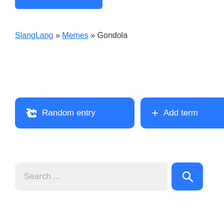[Figure (screenshot): Blue button/bar at top of page (partial)]
SlangLang » Memes » Gondola
[Figure (screenshot): Random entry button (blue, rounded)]
[Figure (screenshot): Add term button (blue, rounded)]
[Figure (screenshot): Search input box with search icon button]